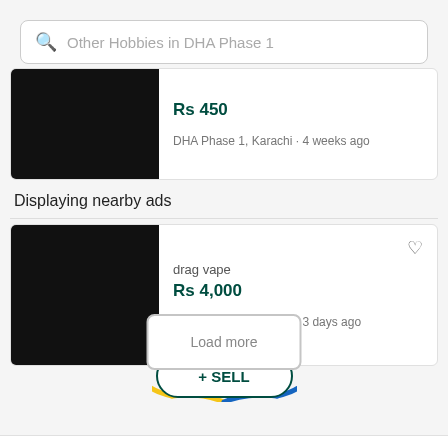[Figure (screenshot): Search bar showing 'Other Hobbies in DHA Phase 1']
[Figure (photo): Black product image placeholder]
Rs 450
DHA Phase 1, Karachi · 4 weeks ago
Displaying nearby ads
[Figure (photo): Black product image placeholder for drag vape]
drag vape
Rs 4,000
DHA Phase 2, Karachi · 3 days ago
Load more
+ SELL